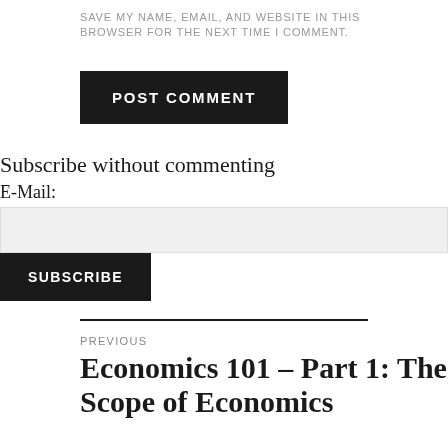SAVE MY NAME, EMAIL, AND WEBSITE IN THIS BROWSER FOR THE NEXT TIME I COMMENT.
POST COMMENT
Subscribe without commenting
E-Mail:
SUBSCRIBE
PREVIOUS
Economics 101 – Part 1: The Scope of Economics